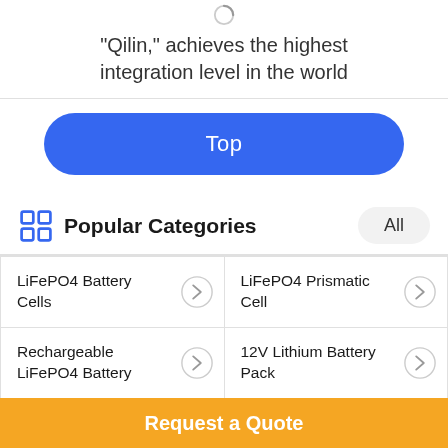"Qilin," achieves the highest integration level in the world
Top
Popular Categories
LiFePO4 Battery Cells
LiFePO4 Prismatic Cell
Rechargeable LiFePO4 Battery
12V Lithium Battery Pack
48V Lithium Battery
RV LiFePO4 Battery
Request a Quote